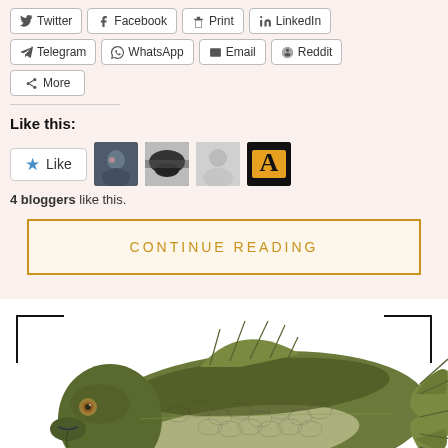Twitter
Facebook
Print
LinkedIn
Telegram
WhatsApp
Email
Reddit
More
Like this:
4 bloggers like this.
CONTINUE READING
[Figure (illustration): Illustration of a fish (tench or similar freshwater fish) viewed from the side, olive-green coloration with lighter belly, inside corner bracket decorative frame.]